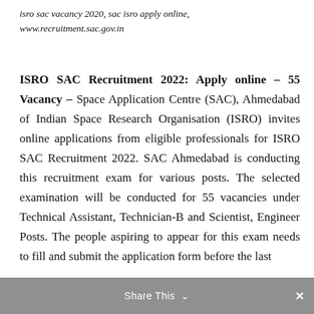isro sac vacancy 2020, sac isro apply online, www.recruitment.sac.gov.in
ISRO SAC Recruitment 2022: Apply online – 55 Vacancy – Space Application Centre (SAC), Ahmedabad of Indian Space Research Organisation (ISRO) invites online applications from eligible professionals for ISRO SAC Recruitment 2022. SAC Ahmedabad is conducting this recruitment exam for various posts. The selected examination will be conducted for 55 vacancies under Technical Assistant, Technician-B and Scientist, Engineer Posts. The people aspiring to appear for this exam needs to fill and submit the application form before the last
Share This ×